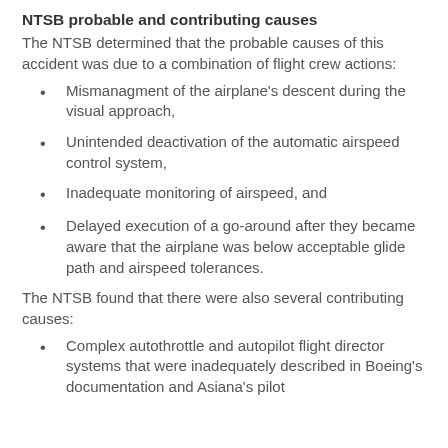NTSB probable and contributing causes
The NTSB determined that the probable causes of this accident was due to a combination of flight crew actions:
Mismanagment of the airplane's descent during the visual approach,
Unintended deactivation of the automatic airspeed control system,
Inadequate monitoring of airspeed, and
Delayed execution of a go-around after they became aware that the airplane was below acceptable glide path and airspeed tolerances.
The NTSB found that there were also several contributing causes:
Complex autothrottle and autopilot flight director systems that were inadequately described in Boeing's documentation and Asiana's pilot